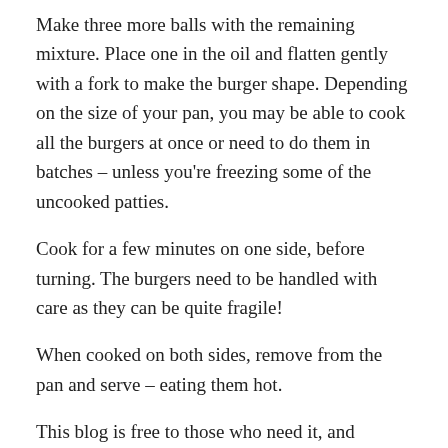Make three more balls with the remaining mixture. Place one in the oil and flatten gently with a fork to make the burger shape. Depending on the size of your pan, you may be able to cook all the burgers at once or need to do them in batches – unless you're freezing some of the uncooked patties.
Cook for a few minutes on one side, before turning. The burgers need to be handled with care as they can be quite fragile!
When cooked on both sides, remove from the pan and serve – eating them hot.
This blog is free to those who need it, and always will be, but it does of course incur costs to run and keep it running. If you use it and benefit, enjoy it, and would like to keep it going, please consider popping